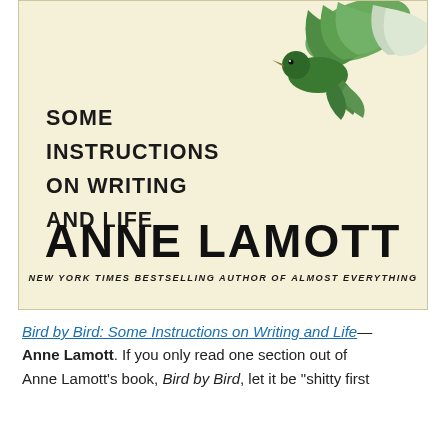[Figure (illustration): Book cover of 'Bird by Bird: Some Instructions on Writing and Life' by Anne Lamott. Cream/light yellow background with an illustration of a bird (hummingbird or similar bird with green and white feathers) in the upper right. Large bold text reads 'SOME INSTRUCTIONS ON WRITING AND LIFE' on the left. Below in very large bold type: 'ANNE LAMOTT'. Beneath the author name in smaller italic bold text: 'NEW YORK TIMES BESTSELLING AUTHOR OF ALMOST EVERYTHING']
Bird by Bird: Some Instructions on Writing and Life— Anne Lamott. If you only read one section out of Anne Lamott's book, Bird by Bird, let it be "shitty first